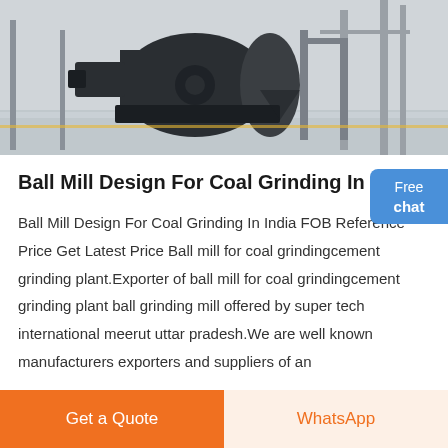[Figure (photo): Industrial ball mill machine in a factory setting, large black cylindrical equipment on a polished concrete floor with metal framework in the background.]
Ball Mill Design For Coal Grinding In India
Ball Mill Design For Coal Grinding In India FOB Reference Price Get Latest Price Ball mill for coal grindingcement grinding plant.Exporter of ball mill for coal grindingcement grinding plant ball grinding mill offered by super tech international meerut uttar pradesh.We are well known manufacturers exporters and suppliers of an